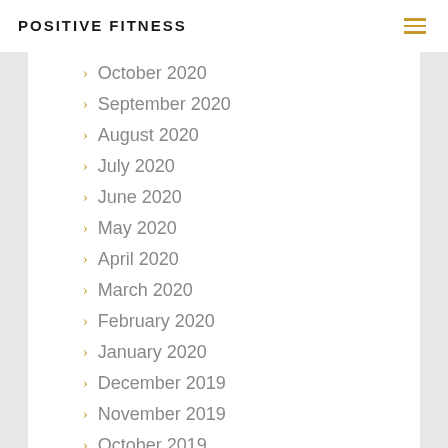POSITIVE FITNESS
October 2020
September 2020
August 2020
July 2020
June 2020
May 2020
April 2020
March 2020
February 2020
January 2020
December 2019
November 2019
October 2019
September 2019